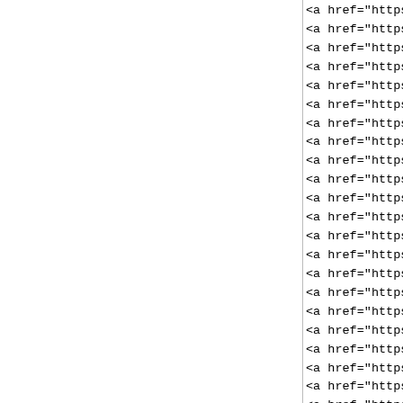<a href="https://www.ni...
<a href="https://www.jor...
<a href="https://www.nm...
<a href="https://www.jor...
<a href="https://www.jor...
<a href="https://www.jor...
<a href="https://www.jor...
<a href="https://www.nik...
<a href="https://www.nev...
<a href="https://www.jor...
<a href="https://www.jor...
<a href="https://www.sho...
<a href="https://www.sho...
<a href="https://www.jor...
<a href="https://www.nik...
<a href="https://www.jor...
<a href="https://www.jor...
<a href="https://www.red...
<a href="https://www.jor...
<a href="https://www.jor...
<a href="https://www.jor...
<a href="https://www.jor...
<a href="https://www.nik...
<a href="https://www.jor...
<a href="https://www.jor...
<a href="https://www.nik...